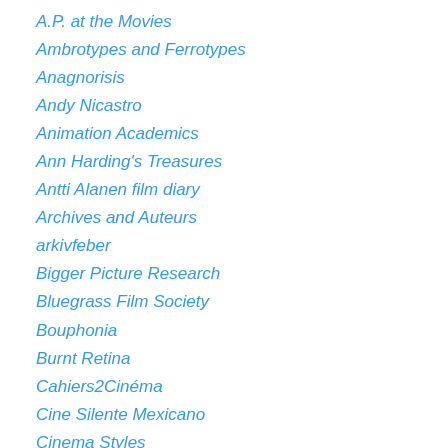A.P. at the Movies
Ambrotypes and Ferrotypes
Anagnorisis
Andy Nicastro
Animation Academics
Ann Harding's Treasures
Antti Alanen film diary
Archives and Auteurs
arkivfeber
Bigger Picture Research
Bluegrass Film Society
Bouphonia
Burnt Retina
Cahiers2Cinéma
Cine Silente Mexicano
Cinema Styles
Commentary Track
COUNTERpoint
Covering Culture
David Thompson